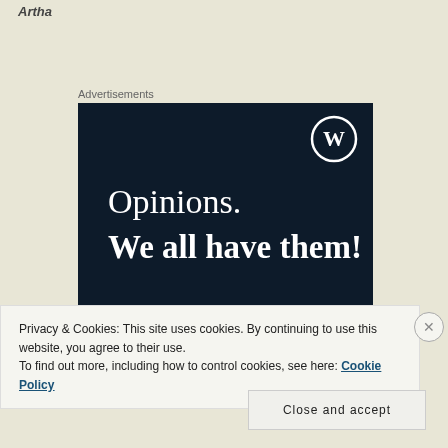Artha
Advertisements
[Figure (screenshot): Advertisement banner with dark navy background showing WordPress logo (W in circle) in top right. Text reads: 'Opinions. We all have them!' in white serif font. A red button and a circular element are partially visible at the bottom.]
Privacy & Cookies: This site uses cookies. By continuing to use this website, you agree to their use.
To find out more, including how to control cookies, see here: Cookie Policy
Close and accept